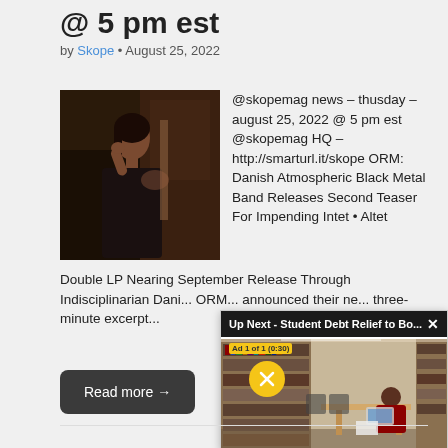@ 5 pm est
by Skope • August 25, 2022
[Figure (photo): Woman in dark outfit leaning against a chair in a dimly lit room]
@skopemag news – thusday – august 25, 2022 @ 5 pm est @skopemag HQ – http://smarturl.it/skope ORM: Danish Atmospheric Black Metal Band Releases Second Teaser For Impending Intet • Altet
Double LP Nearing September Release Through Indisciplinarian Dani... ORM... announced their ne... three-minute excerpt...
Read more →
[Figure (screenshot): Video ad overlay: Up Next - Student Debt Relief to Bo... showing a library scene with a student studying at a desk. Ad 1 of 1 (0:30). Mute button visible. Close (X) button.]